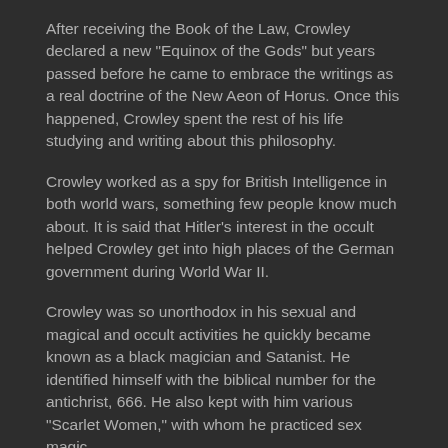After receiving the Book of the Law, Crowley declared a new "Equinox of the Gods" but years passed before he came to embrace the writings as a real doctrine of the New Aeon of Horus. Once this happened, Crowley spent the rest of his life studying and writing about this philosophy.
Crowley worked as a spy for British Intelligence in both world wars, something few people know much about. It is said that Hitler's interest in the occult helped Crowley get into high places of the German government during World War II.
Crowley was so unorthodox in his sexual and magical and occult activities he quickly became known as a black magician and Satanist. He identified himself with the biblical number for the antichrist, 666. He also kept with him various "Scarlet Women," with whom he practiced sex magic.